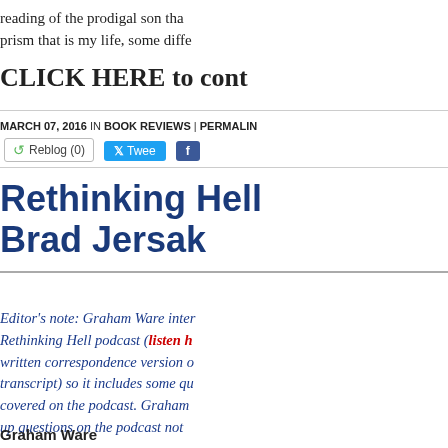reading of the prodigal son tha... prism that is my life, some diffe...
CLICK HERE to cont...
MARCH 07, 2016 IN BOOK REVIEWS | PERMALIN...
Rethinking Hell [by] Brad Jersak
Editor's note: Graham Ware inter... Rethinking Hell podcast (listen h... written correspondence version o... transcript) so it includes some qu... covered on the podcast. Graham... up questions on the podcast not ...
Graham Ware